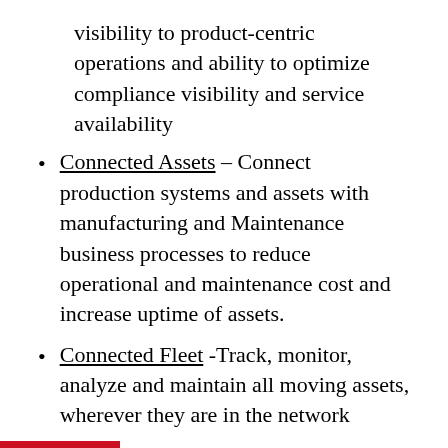visibility to product-centric operations and ability to optimize compliance visibility and service availability
Connected Assets – Connect production systems and assets with manufacturing and Maintenance business processes to reduce operational and maintenance cost and increase uptime of assets.
Connected Fleet -Track, monitor, analyze and maintain all moving assets, wherever they are in the network
Connected Infrastructure – Delivers new forms of digital operational intelligence to transform physical-infrastructure systems to improve service, drive economic growth, and